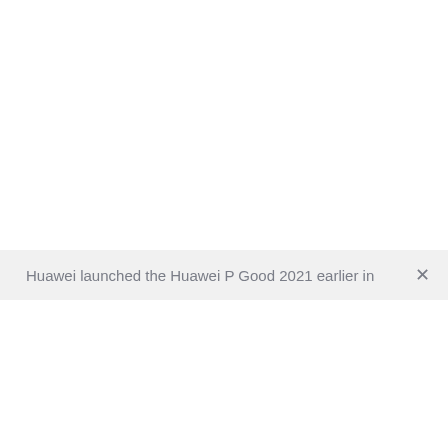Huawei launched the Huawei P Good 2021 earlier in